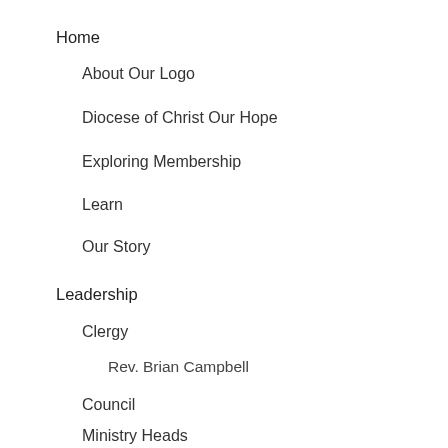Home
About Our Logo
Diocese of Christ Our Hope
Exploring Membership
Learn
Our Story
Leadership
Clergy
Rev. Brian Campbell
Council
Ministry Heads